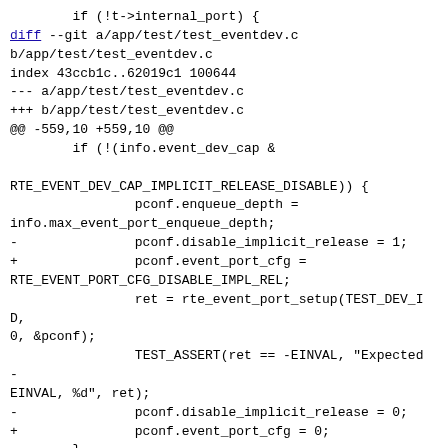if (!t->internal_port) {
diff --git a/app/test/test_eventdev.c b/app/test/test_eventdev.c
index 43ccb1c..62019c1 100644
--- a/app/test/test_eventdev.c
+++ b/app/test/test_eventdev.c
@@ -559,10 +559,10 @@
        if (!(info.event_dev_cap &

RTE_EVENT_DEV_CAP_IMPLICIT_RELEASE_DISABLE)) {
                pconf.enqueue_depth =
info.max_event_port_enqueue_depth;
-               pconf.disable_implicit_release = 1;
+               pconf.event_port_cfg =
RTE_EVENT_PORT_CFG_DISABLE_IMPL_REL;
                ret = rte_event_port_setup(TEST_DEV_ID, 0, &pconf);
                TEST_ASSERT(ret == -EINVAL, "Expected -EINVAL, %d", ret);
-               pconf.disable_implicit_release = 0;
+               pconf.event_port_cfg = 0;
        }

        ret = rte_event_port_setup(TEST_DEV_ID,
info.max_event_ports,
diff --git a/drivers/event/dpaa2/dpaa2_eventdev.c b/drivers/event/dpaa2/dpaa2_eventdev.c
index a196ad4..8568bfc 100644
--- a/drivers/event/dpaa2/dpaa2_eventdev.c